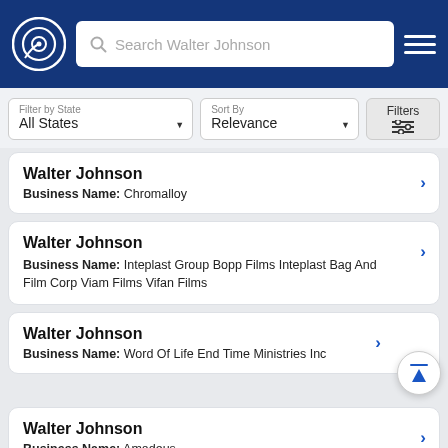Search Walter Johnson
Filter by State: All States | Sort By: Relevance | Filters
Walter Johnson — Business Name: Chromalloy
Walter Johnson — Business Name: Inteplast Group Bopp Films Inteplast Bag And Film Corp Viam Films Vifan Films
Walter Johnson — Business Name: Word Of Life End Time Ministries Inc
Walter Johnson — Business Name: Amadeus